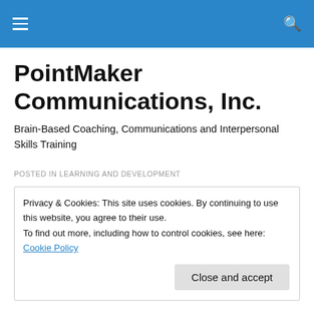PointMaker Communications, Inc. — navigation bar with hamburger menu and search icon
PointMaker Communications, Inc.
Brain-Based Coaching, Communications and Interpersonal Skills Training
POSTED IN LEARNING AND DEVELOPMENT
Privacy & Cookies: This site uses cookies. By continuing to use this website, you agree to their use.
To find out more, including how to control cookies, see here: Cookie Policy
[Close and accept]